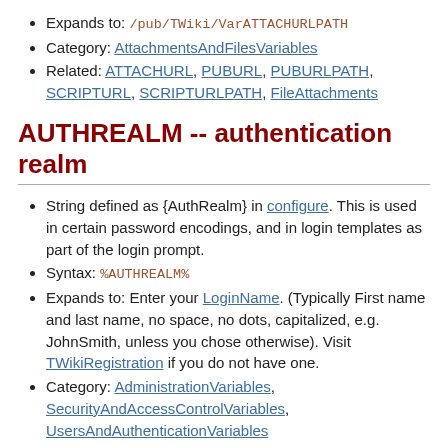Expands to: /pub/TWiki/VarATTACHURLPATH
Category: AttachmentsAndFilesVariables
Related: ATTACHURL, PUBURL, PUBURLPATH, SCRIPTURL, SCRIPTURLPATH, FileAttachments
AUTHREALM -- authentication realm
String defined as {AuthRealm} in configure. This is used in certain password encodings, and in login templates as part of the login prompt.
Syntax: %AUTHREALM%
Expands to: Enter your LoginName. (Typically First name and last name, no space, no dots, capitalized, e.g. JohnSmith, unless you chose otherwise). Visit TWikiRegistration if you do not have one.
Category: AdministrationVariables, SecurityAndAccessControlVariables, UsersAndAuthenticationVariables
Related: TWikiUserAuthentication, SESSIONID, SESSIONVAR, LOGIN, LOGOUT, SESSION_VARIABLE